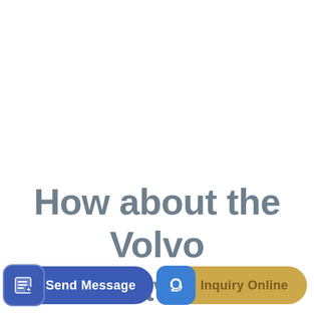How about the Volvo excavator
[Figure (other): Send Message button with pencil/document icon on blue rounded rectangle]
[Figure (other): Inquiry Online button with headset icon on gold/yellow rounded rectangle with blue icon box]